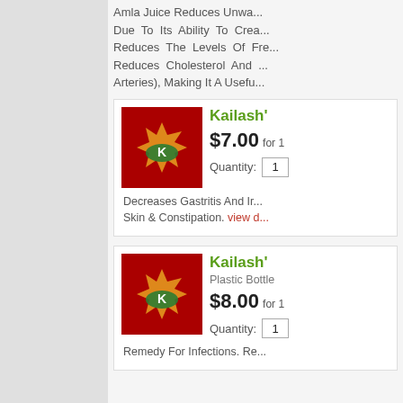Amla Juice Reduces Unwanted Fat Due To Its Ability To Create... Reduces The Levels Of Fre... Reduces Cholesterol And ... Arteries), Making It A Usefu...
Kailash' $7.00 for 1 Quantity: 1
Decreases Gastritis And Ir... Skin & Constipation. view d...
Kailash' Plastic Bottle $8.00 for 1 Quantity: 1
Remedy For Infections. Re...